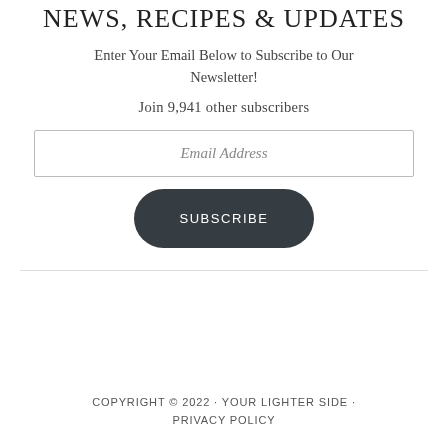NEWS, RECIPES & UPDATES
Enter Your Email Below to Subscribe to Our Newsletter!
Join 9,941 other subscribers
Email Address
SUBSCRIBE
COPYRIGHT © 2022 · YOUR LIGHTER SIDE · PRIVACY POLICY